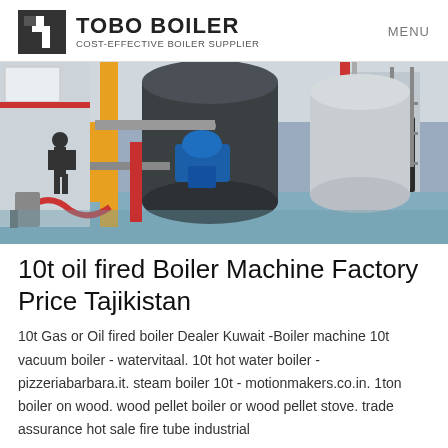TOBO BOILER COST-EFFECTIVE BOILER SUPPLIER | MENU
[Figure (photo): Industrial boiler room with large cylindrical boilers, pipes, and equipment. Boilers include a large dark gray unit and a white unit, with yellow and red pipes visible. Blue floor.]
10t oil fired Boiler Machine Factory Price Tajikistan
10t Gas or Oil fired boiler Dealer Kuwait -Boiler machine 10t vacuum boiler - watervitaal. 10t hot water boiler - pizzeriabarbara.it. steam boiler 10t - motionmakers.co.in. 1ton boiler on wood. wood pellet boiler or wood pellet stove. trade assurance hot sale fire tube industrial